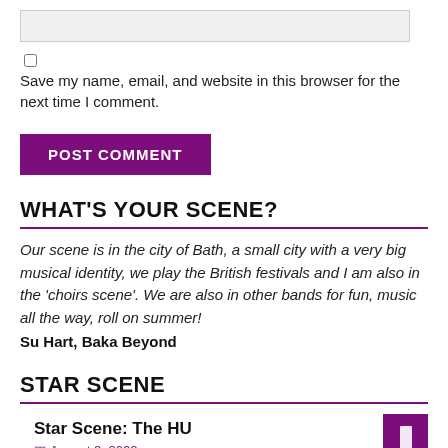[Figure (other): Text input field (gray/light background)]
Save my name, email, and website in this browser for the next time I comment.
POST COMMENT
WHAT'S YOUR SCENE?
Our scene is in the city of Bath, a small city with a very big musical identity, we play the British festivals and I am also in the 'choirs scene'. We are also in other bands for fun, music all the way, roll on summer! Su Hart, Baka Beyond
STAR SCENE
Star Scene: The HU
August 2, 2022